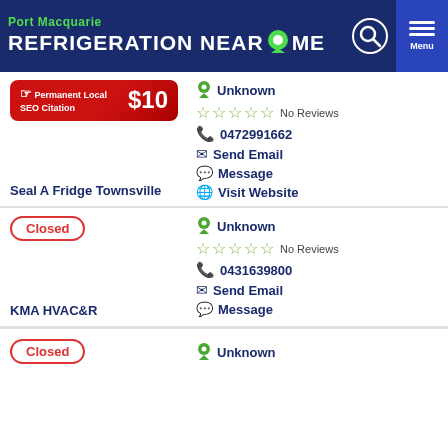Port Macquarie REFRIGERATION NEAR ME
[Figure (infographic): SEO banner: Permanent Local SEO Citation $10]
Unknown
No Reviews
0472991662
Send Email
Message
Visit Website
Seal A Fridge Townsville
Closed
Unknown
No Reviews
0431639800
Send Email
Message
KMA HVAC&R
Closed
Unknown